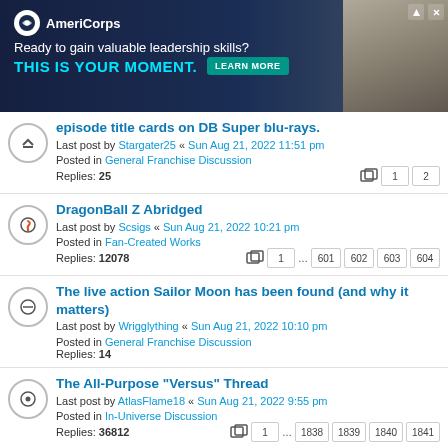[Figure (screenshot): AmeriCorps advertisement banner — 'Ready to gain valuable leadership skills? THIS IS YOUR MOMENT. LEARN MORE' on dark navy background with photo of students on right]
episode title cards on DB Super blu-rays.
Last post by Stargater25 « Sun Aug 21, 2022 11:51 pm
Posted in General Franchise Discussion
Replies: 25
DragonBall Z Abridged
Last post by Scsigs « Sun Aug 21, 2022 10:21 pm
Posted in Fan-Created Works
Replies: 12078
The live action Sailor Moon has been found (and why it matters)
Last post by Wrigglything « Sun Aug 21, 2022 10:10 pm
Posted in General Franchise Discussion
Replies: 14
The All-Purpose "Versus" Thread
Last post by AtlasFlame18 « Sun Aug 21, 2022 9:55 pm
Posted in In-Universe Discussion
Replies: 36812
Funimation's 30th anniversary collectible home video release
Last post by SuperSaivaMan794 « Sun Aug 21, 2022 9:07 pm